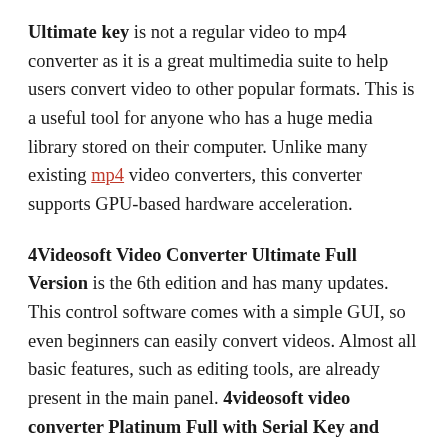Ultimate key is not a regular video to mp4 converter as it is a great multimedia suite to help users convert video to other popular formats. This is a useful tool for anyone who has a huge media library stored on their computer. Unlike many existing mp4 video converters, this converter supports GPU-based hardware acceleration.
4Videosoft Video Converter Ultimate Full Version is the 6th edition and has many updates. This control software comes with a simple GUI, so even beginners can easily convert videos. Almost all basic features, such as editing tools, are already present in the main panel. 4videosoft video converter Platinum Full with Serial Key and Krack provides all the detailed video and audio settings you can choose from, including video and audio settings for each video, while also...